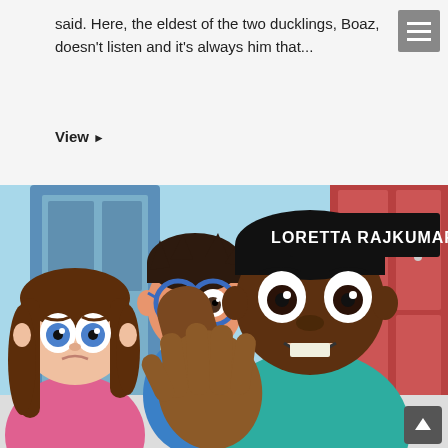said. Here, the eldest of the two ducklings, Boaz, doesn't listen and it's always him that...
View ▶
[Figure (illustration): Cartoon illustration of three animated children characters in a school hallway with lockers. A dark-skinned boy in a teal shirt holds up his hand in a stop gesture toward a brown-haired girl in a pink top. Behind them is a lighter-skinned boy with round glasses and a blue shirt. Text overlay reads 'LORETTA RAJKUMAR' in bold white letters on a dark background.]